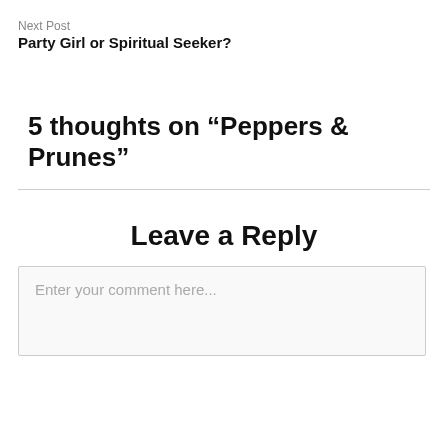Next Post
Party Girl or Spiritual Seeker?
5 thoughts on “Peppers & Prunes”
Leave a Reply
Enter your comment here...